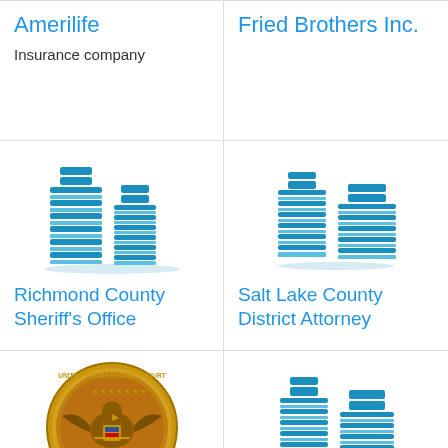Amerilife
Insurance company
Fried Brothers Inc.
[Figure (logo): Generic building/office icon in teal/blue for Richmond County Sheriff's Office]
Richmond County Sheriff's Office
[Figure (logo): Generic building/office icon in teal/blue for Salt Lake County District Attorney]
Salt Lake County District Attorney
[Figure (logo): U.S. District Court for the Middle District of Pennsylvania official gold seal]
U.S. District Court for the Middle District of
[Figure (logo): Generic building/office icon in teal/blue for Moravian Village of Bethlehem]
Moravian Village of Bethlehem